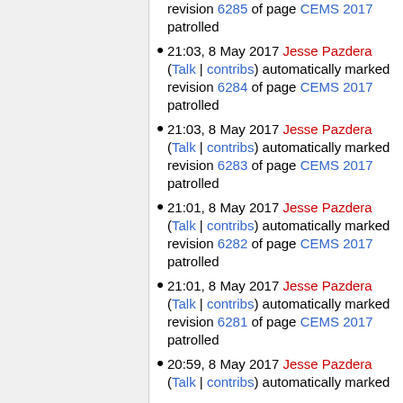revision 6285 of page CEMS 2017 patrolled
21:03, 8 May 2017 Jesse Pazdera (Talk | contribs) automatically marked revision 6284 of page CEMS 2017 patrolled
21:03, 8 May 2017 Jesse Pazdera (Talk | contribs) automatically marked revision 6283 of page CEMS 2017 patrolled
21:01, 8 May 2017 Jesse Pazdera (Talk | contribs) automatically marked revision 6282 of page CEMS 2017 patrolled
21:01, 8 May 2017 Jesse Pazdera (Talk | contribs) automatically marked revision 6281 of page CEMS 2017 patrolled
20:59, 8 May 2017 Jesse Pazdera (Talk | contribs) automatically marked